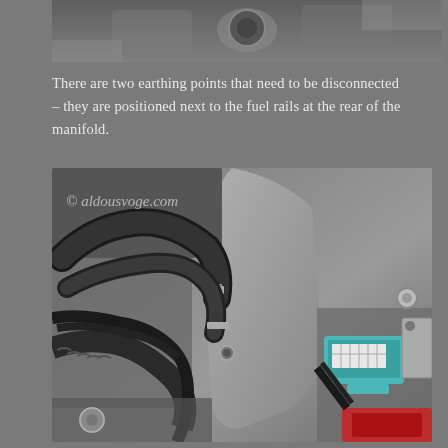[Figure (photo): Top portion of an engine bay photo, showing mechanical components, partially cropped at the top of the page.]
There are two earthing points that need to be disconnected – they are positioned next to the fuel rails at the rear of the manifold.
[Figure (photo): Close-up photograph of engine bay showing fuel rail area, hoses, wiring, and a teal/blue electrical connector component near the rear of the manifold. Watermark reads '© aldousvoge.com'.]